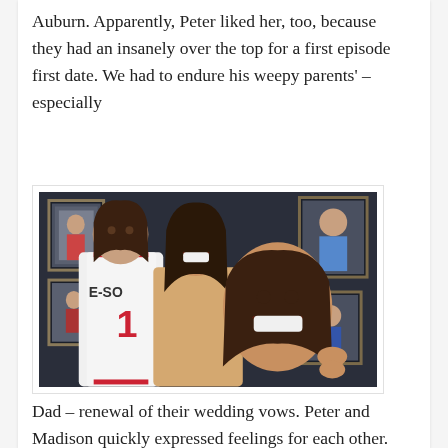Auburn. Apparently, Peter liked her, too, because they had an insanely over the top for a first episode first date. We had to endure his weepy parents' – especially
[Figure (photo): Photo of three young women posing together in what appears to be a sports/basketball themed room with framed photos on the wall. One woman wears a basketball jersey with number 1 and holds a basketball. Another holds a large cutout photo of a smiling woman's face.]
Dad – renewal of their wedding vows. Peter and Madison quickly expressed feelings for each other. And they got a private concert from the artist-